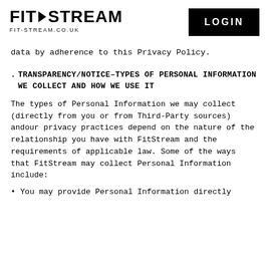FIT-STREAM FIT-STREAM.CO.UK LOGIN
data by adherence to this Privacy Policy.
. TRANSPARENCY/NOTICE–TYPES OF PERSONAL INFORMATION WE COLLECT AND HOW WE USE IT
The types of Personal Information we may collect (directly from you or from Third-Party sources) andour privacy practices depend on the nature of the relationship you have with FitStream and the requirements of applicable law. Some of the ways that FitStream may collect Personal Information include:
You may provide Personal Information directly